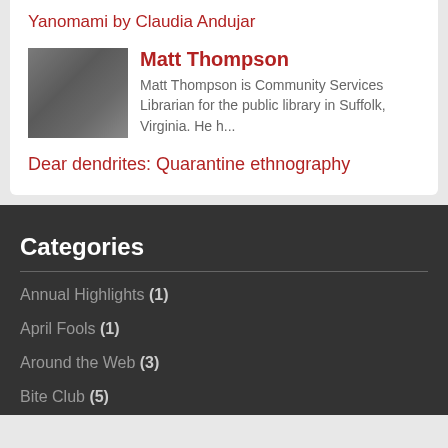Yanomami by Claudia Andujar
Matt Thompson
Matt Thompson is Community Services Librarian for the public library in Suffolk, Virginia. He h...
Dear dendrites: Quarantine ethnography
Categories
Annual Highlights (1)
April Fools (1)
Around the Web (3)
Bite Club (5)